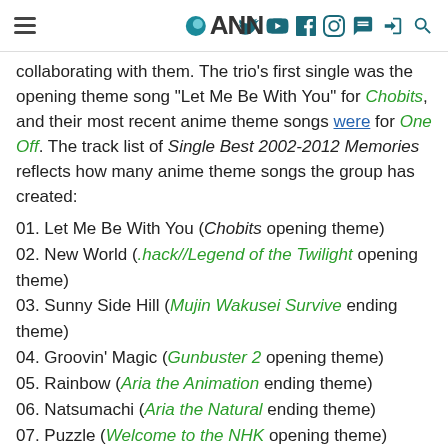ANN navigation header
collaborating with them. The trio's first single was the opening theme song "Let Me Be With You" for Chobits, and their most recent anime theme songs were for One Off. The track list of Single Best 2002-2012 Memories reflects how many anime theme songs the group has created:
01. Let Me Be With You (Chobits opening theme)
02. New World (.hack//Legend of the Twilight opening theme)
03. Sunny Side Hill (Mujin Wakusei Survive ending theme)
04. Groovin' Magic (Gunbuster 2 opening theme)
05. Rainbow (Aria the Animation ending theme)
06. Natsumachi (Aria the Natural ending theme)
07. Puzzle (Welcome to the NHK opening theme)
08. Oh! Yeah!! -New Year's Mix- (CLAMP IN WONDERLAND 2 ending theme)
09. Koi o Shiteru (Webtama 3 ending theme)